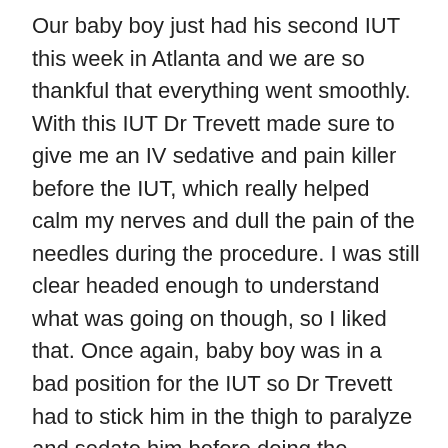Our baby boy just had his second IUT this week in Atlanta and we are so thankful that everything went smoothly. With this IUT Dr Trevett made sure to give me an IV sedative and pain killer before the IUT, which really helped calm my nerves and dull the pain of the needles during the procedure. I was still clear headed enough to understand what was going on though, so I liked that. Once again, baby boy was in a bad position for the IUT so Dr Trevett had to stick him in the thigh to paralyze and sedate him before doing the transfusion. His beginning hematocrit was about 26 and ending hematocrit was 43. This time baby didn't have any weird heart arrhythmias and he seemed calmer during the IUT. After putting the blood into baby's umbilical vein Dr Trevett went in a second time to do an IPT (put reserve blood into baby's belly.) Unfortunately, the baby was lying on his side and there